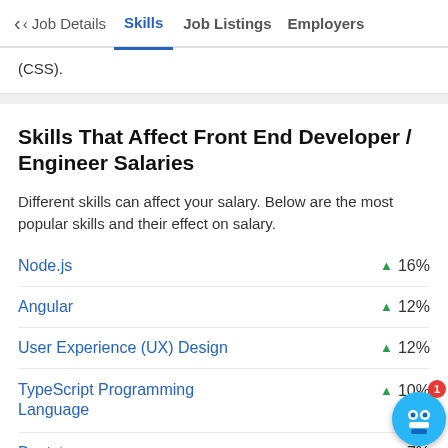‹ Job Details   Skills   Job Listings   Employers
(CSS).
Skills That Affect Front End Developer / Engineer Salaries
Different skills can affect your salary. Below are the most popular skills and their effect on salary.
Node.js ▲ 16%
Angular ▲ 12%
User Experience (UX) Design ▲ 12%
TypeScript Programming Language ▲ 10%
Bootstrap ▲ 7%